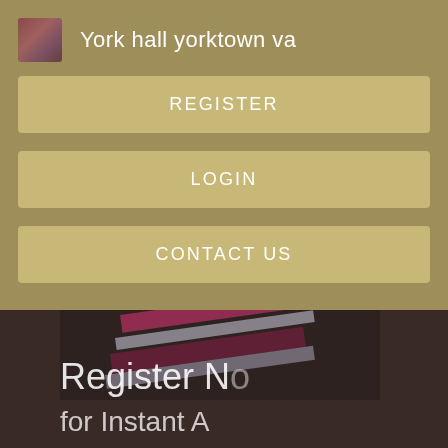[Figure (screenshot): App header with small avatar thumbnail on left and text 'York hall yorktown va' on right, on olive/tan background]
York hall yorktown va
REGISTER
LOGIN
CONTACT US
[Figure (photo): Partial photo of a sign reading 'Register No' and 'for Instant A' with decorative stripes in background, dark reddish-brown tones]